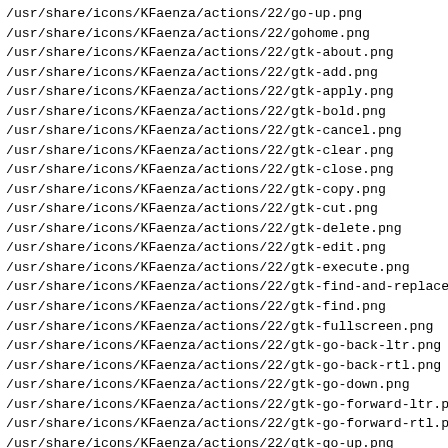/usr/share/icons/KFaenza/actions/22/go-up.png
/usr/share/icons/KFaenza/actions/22/gohome.png
/usr/share/icons/KFaenza/actions/22/gtk-about.png
/usr/share/icons/KFaenza/actions/22/gtk-add.png
/usr/share/icons/KFaenza/actions/22/gtk-apply.png
/usr/share/icons/KFaenza/actions/22/gtk-bold.png
/usr/share/icons/KFaenza/actions/22/gtk-cancel.png
/usr/share/icons/KFaenza/actions/22/gtk-clear.png
/usr/share/icons/KFaenza/actions/22/gtk-close.png
/usr/share/icons/KFaenza/actions/22/gtk-copy.png
/usr/share/icons/KFaenza/actions/22/gtk-cut.png
/usr/share/icons/KFaenza/actions/22/gtk-delete.png
/usr/share/icons/KFaenza/actions/22/gtk-edit.png
/usr/share/icons/KFaenza/actions/22/gtk-execute.png
/usr/share/icons/KFaenza/actions/22/gtk-find-and-replace
/usr/share/icons/KFaenza/actions/22/gtk-find.png
/usr/share/icons/KFaenza/actions/22/gtk-fullscreen.png
/usr/share/icons/KFaenza/actions/22/gtk-go-back-ltr.png
/usr/share/icons/KFaenza/actions/22/gtk-go-back-rtl.png
/usr/share/icons/KFaenza/actions/22/gtk-go-down.png
/usr/share/icons/KFaenza/actions/22/gtk-go-forward-ltr.pn
/usr/share/icons/KFaenza/actions/22/gtk-go-forward-rtl.pn
/usr/share/icons/KFaenza/actions/22/gtk-go-up.png
/usr/share/icons/KFaenza/actions/22/gtk-goto-bottom.png
/usr/share/icons/KFaenza/actions/22/gtk-goto-first-ltr.pn
/usr/share/icons/KFaenza/actions/22/gtk-goto-first-rtl.pn
/usr/share/icons/KFaenza/actions/22/gtk-goto-last-ltr.png
/usr/share/icons/KFaenza/actions/22/gtk-goto-last-rtl.png
/usr/share/icons/KFaenza/actions/22/gtk-goto-top.png
/usr/share/icons/KFaenza/actions/22/gtk-home.png
/usr/share/icons/KFaenza/actions/22/gtk-indent-ltr.